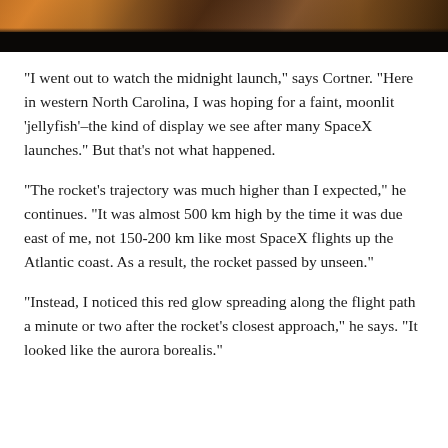[Figure (photo): A dark night sky photograph showing silhouettes of trees at the bottom against a twilight sky with orange and purple hues near the horizon.]
“I went out to watch the midnight launch,” says Cortner. “Here in western North Carolina, I was hoping for a faint, moonlit ‘jellyfish’–the kind of display we see after many SpaceX launches.” But that’s not what happened.
“The rocket’s trajectory was much higher than I expected,” he continues. “It was almost 500 km high by the time it was due east of me, not 150-200 km like most SpaceX flights up the Atlantic coast. As a result, the rocket passed by unseen.”
“Instead, I noticed this red glow spreading along the flight path a minute or two after the rocket’s closest approach,” he says. “It looked like the aurora borealis.”